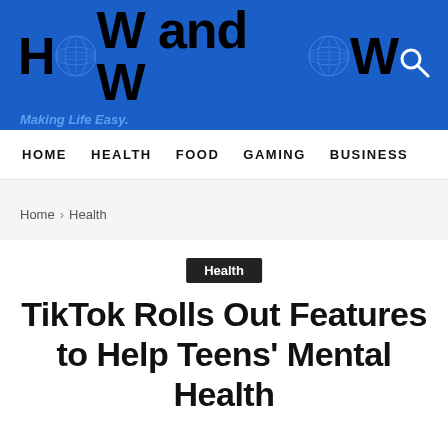[Figure (logo): How and WOW logo with globe icons and tagline 'Making Life Easy.' on blue banner background]
HOME   HEALTH   FOOD   GAMING   BUSINESS
Home › Health
Health
TikTok Rolls Out Features to Help Teens' Mental Health